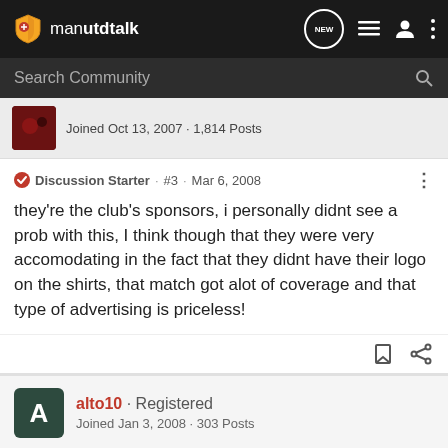manutdtalk
Search Community
Joined Oct 13, 2007 · 1,814 Posts
Discussion Starter · #3 · Mar 6, 2008
they're the club's sponsors, i personally didnt see a prob with this, I think though that they were very accomodating in the fact that they didnt have their logo on the shirts, that match got alot of coverage and that type of advertising is priceless!
alto10 · Registered
Joined Jan 3, 2008 · 303 Posts